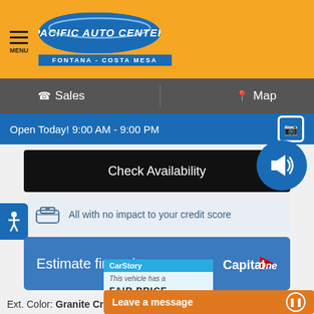[Figure (logo): Pacific Auto Center logo with blue oval shape, white italic text 'PACIFIC AUTO CENTER' and subtitle 'FONTANA - COSTA MESA' on orange header background]
Sales   Map
Open Today! 9:00 AM - 9:00 PM
Check Availability
All with no impact to your credit score
Estimate financing
Click to Call
[Figure (screenshot): CarStory badge showing 'This vehicle has a FAIR PRICE']
Ext. Color: Granite Cry
Leave a message